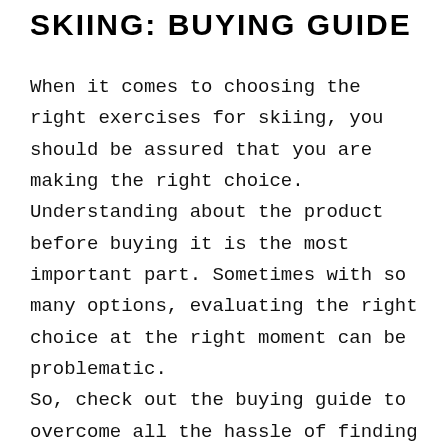SKIING: BUYING GUIDE
When it comes to choosing the right exercises for skiing, you should be assured that you are making the right choice. Understanding about the product before buying it is the most important part. Sometimes with so many options, evaluating the right choice at the right moment can be problematic. So, check out the buying guide to overcome all the hassle of finding your best solution.